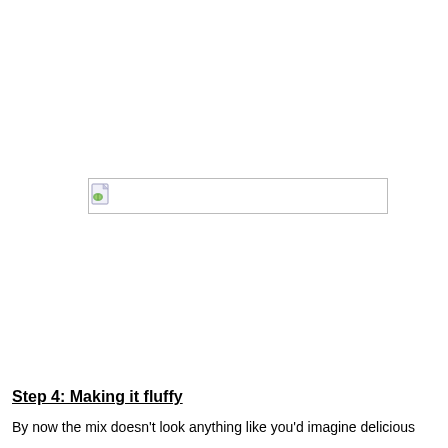[Figure (other): A broken/missing image placeholder showing a small document icon with a green leaf, displayed as a thin wide rectangle with a border.]
Step 4: Making it fluffy
By now the mix doesn't look anything like you'd imagine delicious